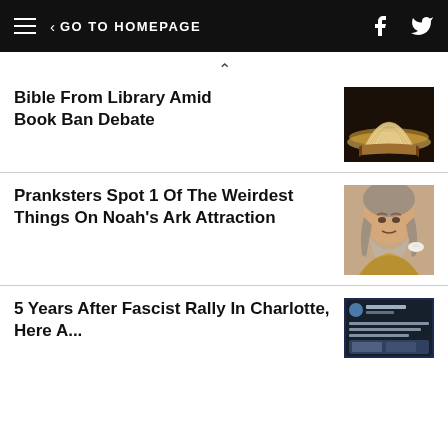< GO TO HOMEPAGE
Bible From Library Amid Book Ban Debate
[Figure (photo): Open book with pages fanning out on a surface]
Pranksters Spot 1 Of The Weirdest Things On Noah's Ark Attraction
[Figure (photo): Bearded man in biblical costume holding a dove]
5 Years After Fascist Rally In Charlotte, Here A...
[Figure (screenshot): Screenshot of a social media post about Charlottesville rally]